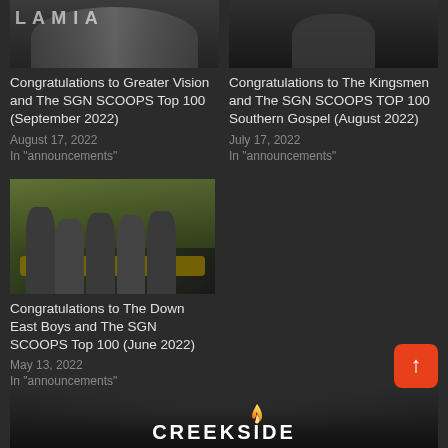[Figure (photo): Photo of Greater Vision group, partially cropped at top]
Congratulations to Greater Vision and The SGN SCOOPS Top 100 (September 2022)
August 17, 2022
In "announcements"
[Figure (photo): Photo of The Kingsmen group, partially cropped at top]
Congratulations to The Kingsmen and The SGN SCOOPS TOP 100 Southern Gospel (August 2022)
July 17, 2022
In "announcements"
[Figure (photo): Group photo of The Down East Boys, men in suits seated and standing in a room with green accents]
Congratulations to The Down East Boys and The SGN SCOOPS Top 100 (June 2022)
May 13, 2022
In "announcements"
[Figure (logo): Creekside logo with flame icon and text CREEKSIDE on dark background]